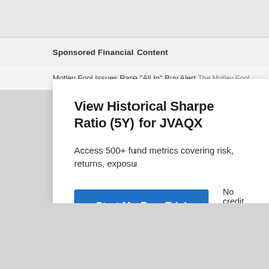Sponsored Financial Content
Motley Fool Issues Rare "All In" Buy Alert  The Motley Fool
View Historical Sharpe Ratio (5Y) for JVAQX
Access 500+ fund metrics covering risk, returns, exposu
Start My Free Trial
No credit card required.
Already a subscriber? Sign in.